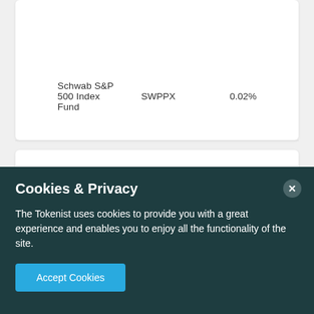| Fund Name | Ticker | Expense Ratio |
| --- | --- | --- |
| Schwab S&P 500 Index Fund | SWPPX | 0.02% |
[Figure (other): Empty white card panel — second card area with no visible content]
Cookies & Privacy
The Tokenist uses cookies to provide you with a great experience and enables you to enjoy all the functionality of the site.